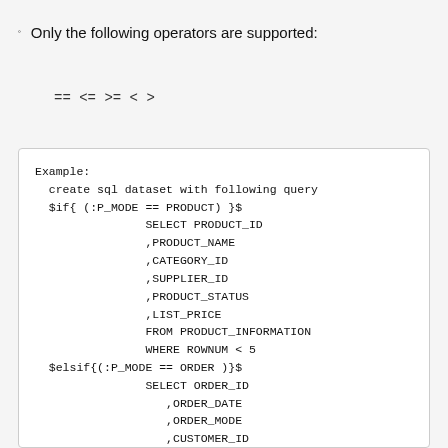Only the following operators are supported:
== <= >= < >
Example:
  create sql dataset with following query
  $if{ (:P_MODE == PRODUCT) }$
                SELECT PRODUCT_ID
                ,PRODUCT_NAME
                ,CATEGORY_ID
                ,SUPPLIER_ID
                ,PRODUCT_STATUS
                ,LIST_PRICE
                FROM PRODUCT_INFORMATION
                WHERE ROWNUM < 5
  $elsif{(:P_MODE == ORDER )}$
                SELECT ORDER_ID
                   ,ORDER_DATE
                   ,ORDER_MODE
                   ,CUSTOMER_ID
                ,ORDER_TOTAL